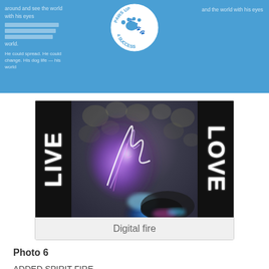Paws Up 4 Success
[Figure (photo): Digital artwork showing abstract spirit fire with purple, blue and white light streaks on a dark background with smoke/cloud textures. Black side panels with white text 'LIVE' on the left and 'LOVE' on the right rotated vertically.]
Digital fire
Photo 6
ADDED SPIRIT FIRE –
The spirit fire light welcomed him to his next beginning as